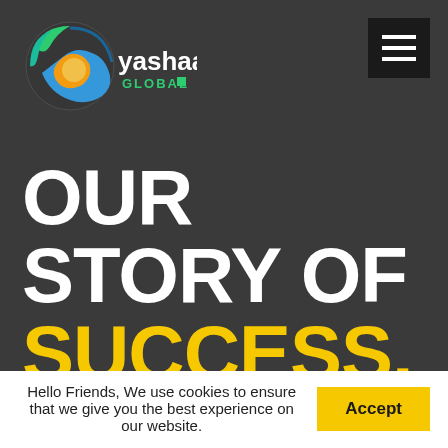[Figure (logo): Yashaa Global logo — circular emblem with blue, green, teal, and yellow/orange elements, with 'yashaa' in stylized text and 'GLOBAL' in green below]
[Figure (other): Hamburger menu icon — three white horizontal bars on dark background]
OUR STORY OF SUCCESS.
We're on a mission to start a conversation
Hello Friends, We use cookies to ensure that we give you the best experience on our website.